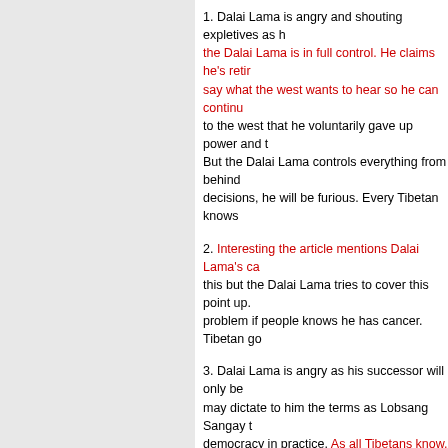1. Dalai Lama is angry and shouting expletives as he Dalai Lama is in full control. He claims he's retired say what the west wants to hear so he can continue to the west that he voluntarily gave up power and t But the Dalai Lama controls everything from behind decisions, he will be furious. Every Tibetan knows
2. Interesting the article mentions Dalai Lama's ca this but the Dalai Lama tries to cover this point up. problem if people knows he has cancer. Tibetan go
3. Dalai Lama is angry as his successor will only be may dictate to him the terms as Lobsang Sangay t democracy in practice. As all Tibetans know, the Da he has full power and no one may contradict him. friendly, diplomatic, easy-going, democratic) is all j Lama shows his Tibetan people (fierce, King, ange obeyed) is how it really is. Tibetans know the Dalai fully manages all politics. People are not happy wi there is no democracy.
Writer Rajeev Sharma is telling the situation like it coming out. Tibetan government in exile is a regime depends on all the hundreds of millions of free dol west, Japan, Australia and so on. It exists on free